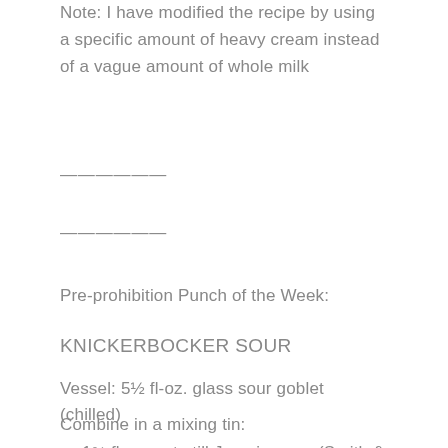Note: I have modified the recipe by using a specific amount of heavy cream instead of a vague amount of whole milk
————————
————————
Pre-prohibition Punch of the Week:
KNICKERBOCKER SOUR
Vessel: 5½ fl-oz. glass sour goblet (chilled)
Combine in a mixing tin:
→ 1¾ fl-oz. pot-still Jamaica rum (Smith & Cross™ is